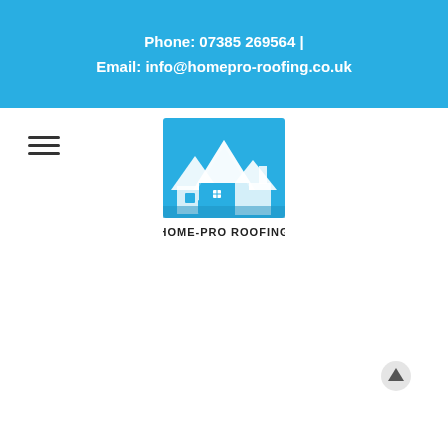Phone: 07385 269564  |  Email: info@homepro-roofing.co.uk
[Figure (logo): Home-Pro Roofing logo: blue square background with white illustrated rooftop/house silhouette and text HOME-PRO ROOFING below]
[Figure (illustration): Hamburger menu icon (three horizontal lines)]
[Figure (illustration): Scroll-to-top button arrow icon in bottom right corner]